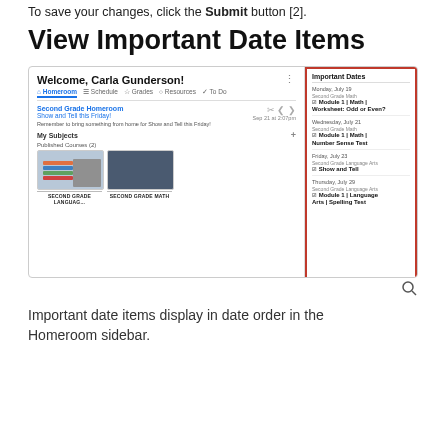To save your changes, click the Submit button [2].
View Important Date Items
[Figure (screenshot): Screenshot of a learning management system Homeroom page for Carla Gunderson, showing navigation tabs (Homeroom, Schedule, Grades, Resources, To Do), an announcement for Second Grade Homeroom about Show and Tell this Friday, My Subjects section with Published Courses (2) including Second Grade Language Arts and Second Grade Math thumbnail cards, and an Important Dates sidebar (highlighted with red border) listing items on Monday July 19, Wednesday July 21, Friday July 23, and Thursday July 29 with assignments for Second Grade Math and Second Grade Language Arts modules.]
Important date items display in date order in the Homeroom sidebar.